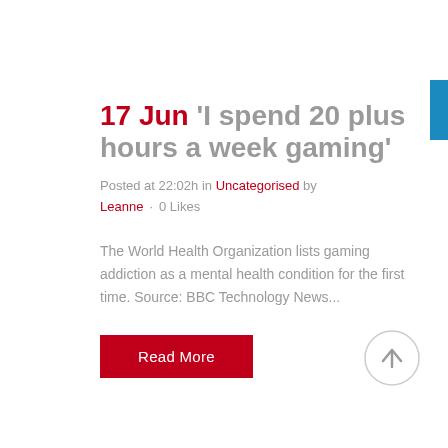17 Jun 'I spend 20 plus hours a week gaming'
Posted at 22:02h in Uncategorised by Leanne · 0 Likes
The World Health Organization lists gaming addiction as a mental health condition for the first time. Source: BBC Technology News...